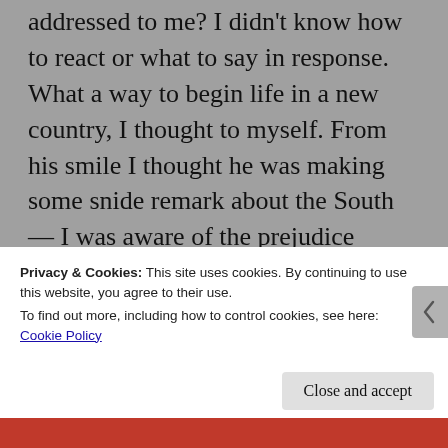addressed to me? I didn't know how to react or what to say in response. What a way to begin life in a new country, I thought to myself. From his smile I thought he was making some snide remark about the South — I was aware of the prejudice against people of color after reading Uncle Tom's Cabin. I had come here from India to improve my chance for a better career and life. I was prepared to do whatever it took. Was I going to be successful? I had no clue. The immigration officer sure seemed skeptical. On the other hand, I may have heard his remark out of context.
Privacy & Cookies: This site uses cookies. By continuing to use this website, you agree to their use.
To find out more, including how to control cookies, see here: Cookie Policy
Close and accept